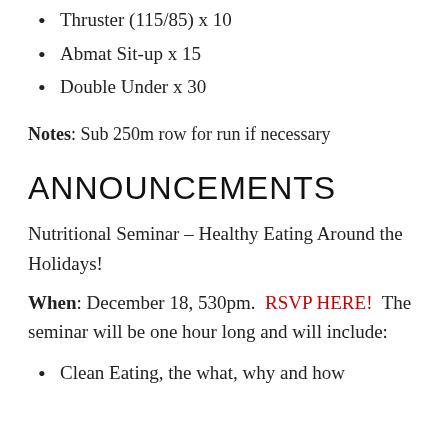Thruster (115/85) x 10
Abmat Sit-up x 15
Double Under x 30
Notes: Sub 250m row for run if necessary
ANNOUNCEMENTS
Nutritional Seminar – Healthy Eating Around the Holidays!
When: December 18, 530pm. RSVP HERE! The seminar will be one hour long and will include:
Clean Eating, the what, why and how